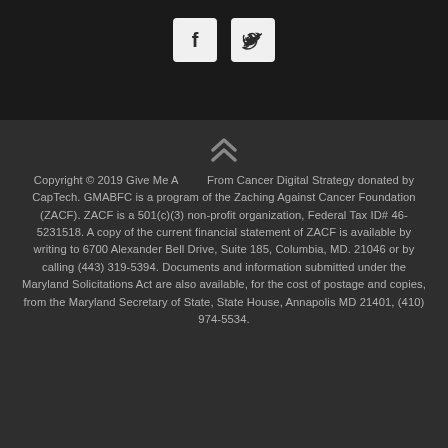[Figure (illustration): Two social media icons: Facebook (f) and Twitter (bird) in white on dark background squares]
Copyright © 2019 Give Me A Break From Cancer Digital Strategy donated by CapTech. GMABFC is a program of the Zaching Against Cancer Foundation (ZACF). ZACF is a 501(c)(3) non-profit organization, Federal Tax ID# 46-5231518. A copy of the current financial statement of ZACF is available by writing to 6700 Alexander Bell Drive, Suite 185, Columbia, MD. 21046 or by calling (443) 319-5394. Documents and information submitted under the Maryland Solicitations Act are also available, for the cost of postage and copies, from the Maryland Secretary of State, State House, Annapolis MD 21401, (410) 974-5534.